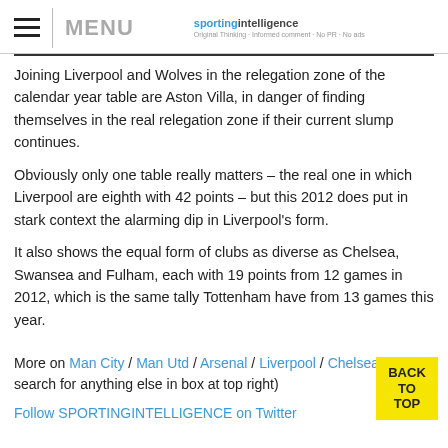MENU | sportingintelligence
Joining Liverpool and Wolves in the relegation zone of the calendar year table are Aston Villa, in danger of finding themselves in the real relegation zone if their current slump continues.
Obviously only one table really matters – the real one in which Liverpool are eighth with 42 points – but this 2012 does put in stark context the alarming dip in Liverpool's form.
It also shows the equal form of clubs as diverse as Chelsea, Swansea and Fulham, each with 19 points from 12 games in 2012, which is the same tally Tottenham have from 13 games this year.
More on Man City / Man Utd / Arsenal / Liverpool / Chelsea (or search for anything else in box at top right)
Follow SPORTINGINTELLIGENCE on Twitter